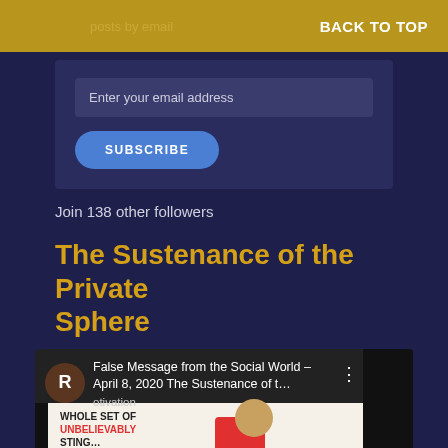posts by email  BACK TO TOP
Enter your email address
SUBSCRIBE
Join 138 other followers
The Sustenance of the Private Sphere
[Figure (screenshot): Video thumbnail showing a YouTube-style video player with avatar 'R', title 'False Message from the Social World - April 8, 2020 The Sustenance of t...', subtitle 'otivation', three-dot menu icon, and video content showing 'WHOLE SET OF UNBELIEVABLY [text cut off]' with a cartoon bear and red shape.]